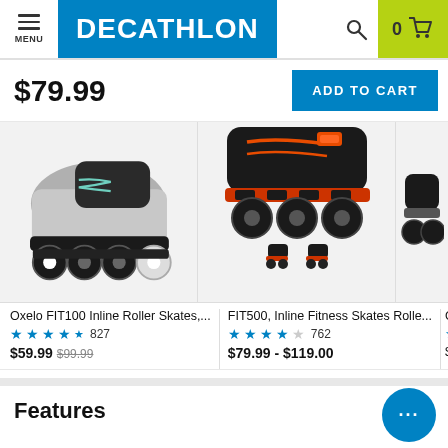MENU | DECATHLON | Search | 0 Cart
$79.99
ADD TO CART
[Figure (photo): Two inline roller skates side by side: left one is grey/black with teal laces and black wheels, right one is black with orange frame and larger wheels. Also small thumbnail images of skates below.]
Oxelo FIT100 Inline Roller Skates,... ★★★★½ 827 $59.99 $99.99
FIT500, Inline Fitness Skates Rolle... ★★★★☆ 762 $79.99 - $119.00
Ox... ★...  $5...
Features